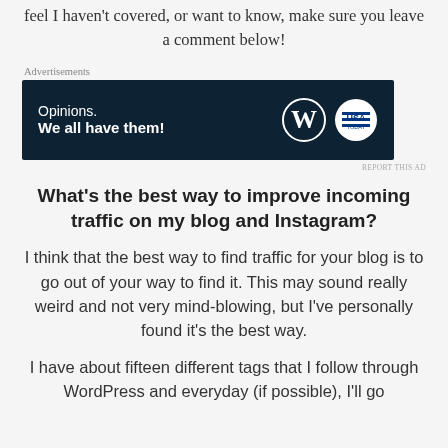feel I haven't covered, or want to know, make sure you leave a comment below!
[Figure (screenshot): WordPress advertisement banner with dark navy background. Text reads 'Opinions. We all have them!' with WordPress 'W' logo and USA Today logo on right side.]
What's the best way to improve incoming traffic on my blog and Instagram?
I think that the best way to find traffic for your blog is to go out of your way to find it. This may sound really weird and not very mind-blowing, but I've personally found it's the best way.
I have about fifteen different tags that I follow through WordPress and everyday (if possible), I'll go